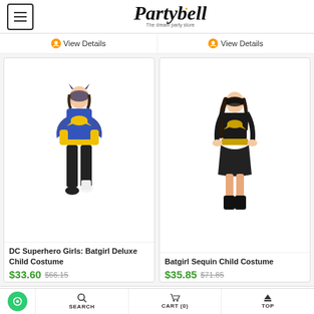Partybell - The dream party store
View Details | View Details
[Figure (photo): Girl wearing DC Superhero Girls Batgirl Deluxe Child Costume - blue and yellow batgirl outfit with wings and mask]
DC Superhero Girls: Batgirl Deluxe Child Costume
$33.60  $66.15
[Figure (photo): Girl wearing Batgirl Sequin Child Costume - black sequin dress with gold belt and batman logo, with mask]
Batgirl Sequin Child Costume
$35.85  $71.85
SEARCH  CART (0)  TOP